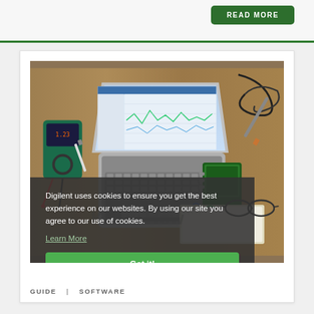READ MORE
[Figure (photo): Engineering workbench with a laptop showing software (WaveForms), a multimeter, a Digilent device (ADALM2000 or similar), breadboard with components, soldering iron, cables, glasses, and other electronics tools on a wooden desk surface. A cookie consent overlay partially covers the lower-left of the photo.]
Digilent uses cookies to ensure you get the best experience on our websites. By using our site you agree to our use of cookies.
Learn More
Got it!
GUIDE  SOFTWARE